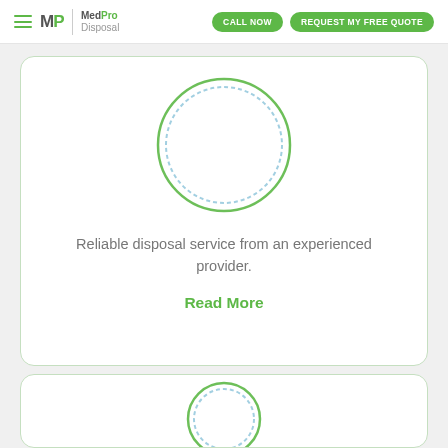MedPro Disposal | CALL NOW | REQUEST MY FREE QUOTE
[Figure (illustration): Circular logo/icon placeholder with green and blue overlapping ring outlines on white background]
Reliable disposal service from an experienced provider.
Read More
[Figure (illustration): Partial circular logo/icon at bottom of second card, partially visible]